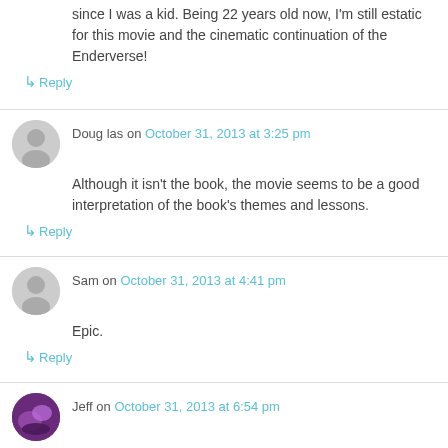since I was a kid. Being 22 years old now, I'm still estatic for this movie and the cinematic continuation of the Enderverse!
↳ Reply
Doug las on October 31, 2013 at 3:25 pm
Although it isn't the book, the movie seems to be a good interpretation of the book's themes and lessons.
↳ Reply
Sam on October 31, 2013 at 4:41 pm
Epic.
↳ Reply
Jeff on October 31, 2013 at 6:54 pm
Everything I was hoping for.
↳ Reply